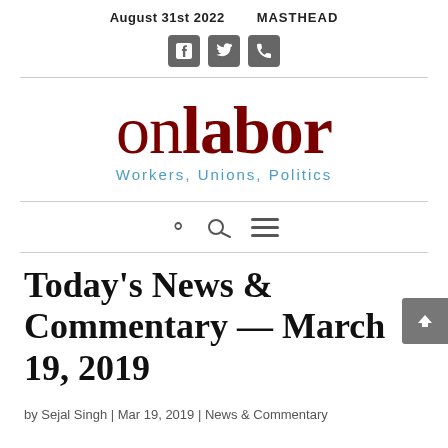August 31st 2022    MASTHEAD
[Figure (illustration): Social media icons: Facebook, Twitter, RSS feed in gray rounded square buttons]
onlabor — Workers, Unions, Politics
[Figure (illustration): Navigation bar with search icon and hamburger menu icon]
Today's News & Commentary — March 19, 2019
by Sejal Singh | Mar 19, 2019 | News & Commentary